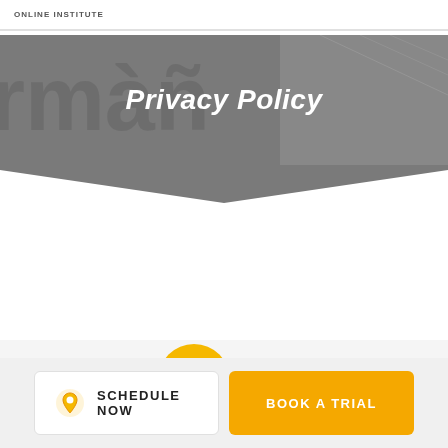ONLINE INSTITUTE
Privacy Policy
[Figure (illustration): Yellow cloud illustration with 'CO' text visible, partial view at bottom of page]
SCHEDULE NOW
BOOK A TRIAL